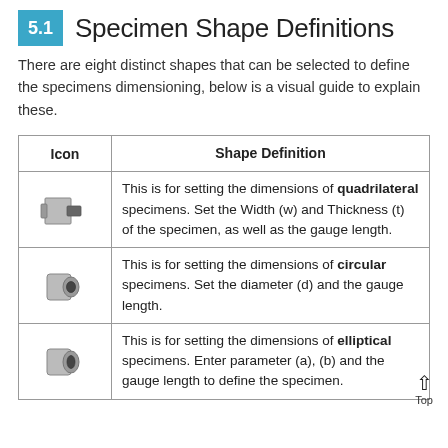5.1 Specimen Shape Definitions
There are eight distinct shapes that can be selected to define the specimens dimensioning, below is a visual guide to explain these.
| Icon | Shape Definition |
| --- | --- |
| [quadrilateral icon] | This is for setting the dimensions of quadrilateral specimens. Set the Width (w) and Thickness (t) of the specimen, as well as the gauge length. |
| [circular icon] | This is for setting the dimensions of circular specimens. Set the diameter (d) and the gauge length. |
| [elliptical icon] | This is for setting the dimensions of elliptical specimens. Enter parameter (a), (b) and the gauge length to define the specimen. |